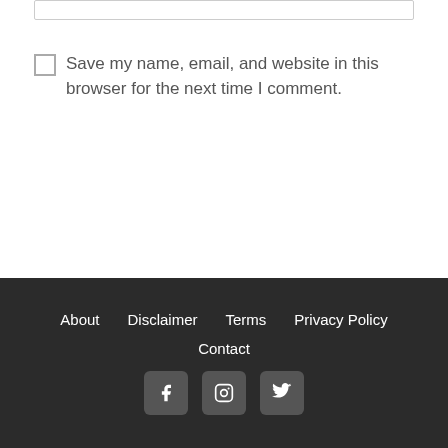Save my name, email, and website in this browser for the next time I comment.
POST COMMENT
About  Disclaimer  Terms  Privacy Policy  Contact
[Figure (other): Social media icons: Facebook, Instagram, Twitter]